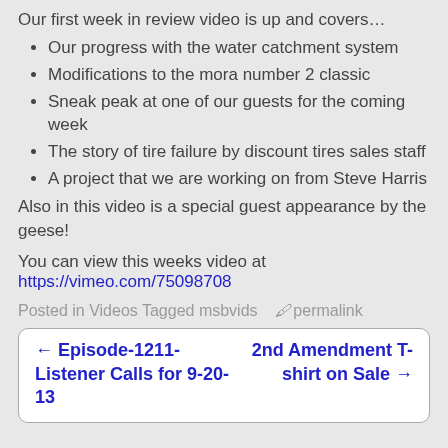Our first week in review video is up and covers…
Our progress with the water catchment system
Modifications to the mora number 2 classic
Sneak peak at one of our guests for the coming week
The story of tire failure by discount tires sales staff
A project that we are working on from Steve Harris
Also in this video is a special guest appearance by the geese!
You can view this weeks video at https://vimeo.com/75098708
Posted in Videos Tagged msbvids  permalink
← Episode-1211-Listener Calls for 9-20-13   2nd Amendment T-shirt on Sale →